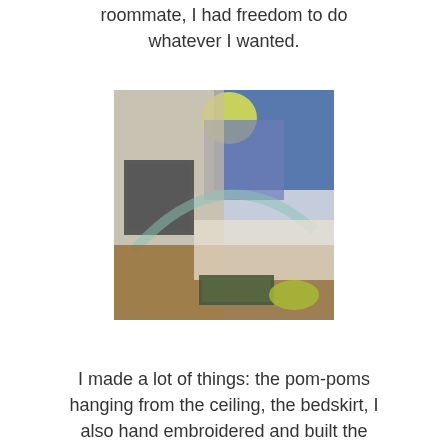roommate, I had freedom to do whatever I wanted.
[Figure (photo): A blurry photograph of a decorated bedroom showing colorful walls, pom-poms hanging from the ceiling, a bedskirt, and various handmade decorations. The room has blue, yellow, and brown tones.]
I made a lot of things: the pom-poms hanging from the ceiling, the bedskirt, I also hand embroidered and built the